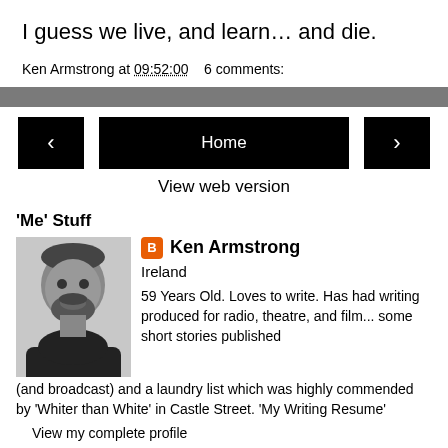I guess we live, and learn… and die.
Ken Armstrong at 09:52:00   6 comments:
< Home >
View web version
'Me' Stuff
Ken Armstrong
Ireland
59 Years Old. Loves to write. Has had writing produced for radio, theatre, and film... some short stories published (and broadcast) and a laundry list which was highly commended by 'Whiter than White' in Castle Street. 'My Writing Resume'
View my complete profile
Powered by Blogger.